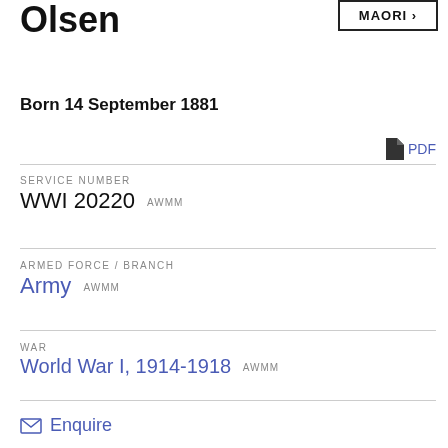Olsen
MAORI >
Born 14 September 1881
PDF
SERVICE NUMBER
WWI 20220 AWMM
ARMED FORCE / BRANCH
Army AWMM
WAR
World War I, 1914-1918 AWMM
Enquire